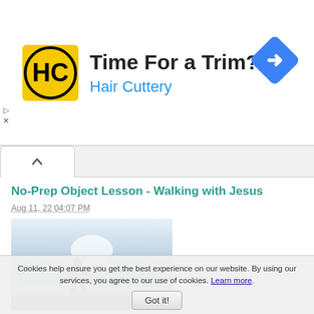[Figure (logo): Hair Cuttery advertisement banner with HC logo, 'Time For a Trim?' heading, 'Hair Cuttery' subheading in blue, and a blue diamond direction sign icon]
[Figure (photo): Silhouette of a person walking by the waterside with a city skyline in the background, hazy light sky]
No-Prep Object Lesson - Walking with Jesus
Aug 11, 22 04:07 PM
Walking can illustrate an easy no prep Bible object lesson on how to live & walk with Jesus. Add a three legged-race to increase the fun for kids & youth! Can also be used as a Bible
Cookies help ensure you get the best experience on our website. By using our services, you agree to our use of cookies. Learn more.
Got it!